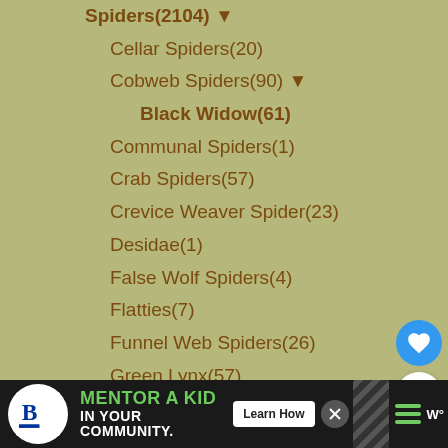Spiders(2104) ▼
Cellar Spiders(20)
Cobweb Spiders(90) ▼
Black Widow(61)
Communal Spiders(1)
Crab Spiders(57)
Crevice Weaver Spider(23)
Desidae(1)
False Wolf Spiders(4)
Flatties(7)
Funnel Web Spiders(26)
Green Lynx(57)
Ground Spiders and Ant Mimics(28)
Hacklemesh Weavers(8)
Huntsman Spiders and Giant Crab Spiders(127)
Jumping Spiders(139)
Ladybird Spiders(17)
Longjawed Orbweavers(27)
Net Casting Spiders(10)